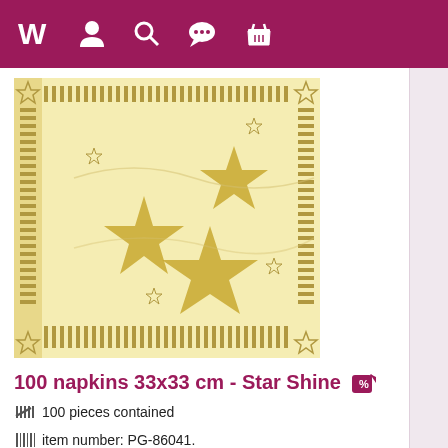Navigation bar with logo and icons
[Figure (photo): Product image of a decorative napkin with gold star pattern on cream/ivory background, with gold stripe borders]
100 napkins 33x33 cm - Star Shine
100 pieces contained
item number: PG-86041.
There are other items showing the